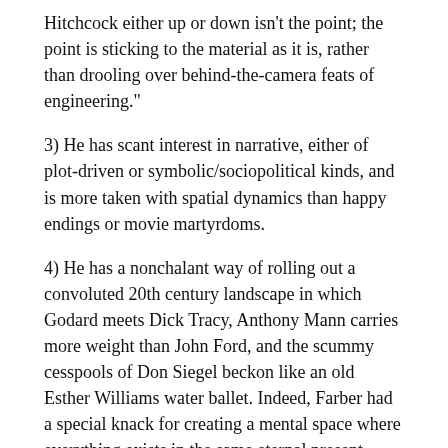Hitchcock either up or down isn't the point; the point is sticking to the material as it is, rather than drooling over behind-the-camera feats of engineering."
3) He has scant interest in narrative, either of plot-driven or symbolic/sociopolitical kinds, and is more taken with spatial dynamics than happy endings or movie martyrdoms.
4) He has a nonchalant way of rolling out a convoluted 20th century landscape in which Godard meets Dick Tracy, Anthony Mann carries more weight than John Ford, and the scummy cesspools of Don Siegel beckon like an old Esther Williams water ballet. Indeed, Farber had a special knack for creating a mental space where everything exists in the same eternal present tense, the 1932 "Scarface" and the 1970 acid gangster trip "Performance," Boris Karloff and Mick Jagger sounding like long-lost brothers-in-arms waving to each other